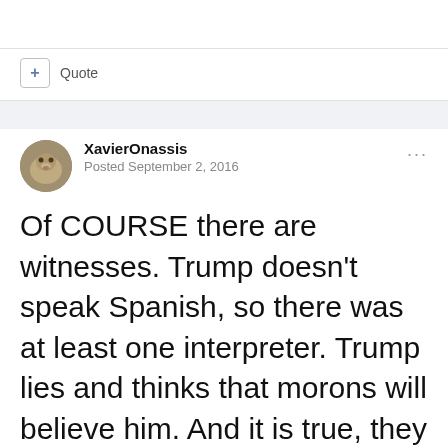+ Quote
XavierOnassis
Posted September 2, 2016
Of COURSE there are witnesses. Trump doesn't speak Spanish, so there was at least one interpreter. Trump lies and thinks that morons will believe him. And it is true, they do. Moron Golfboy and Moron Turdzilla believe any stupid thing